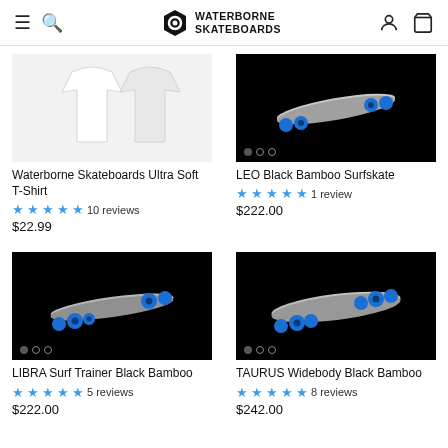Waterborne Skateboards
[Figure (photo): White t-shirt product image on light background]
Waterborne Skateboards Ultra Soft T-Shirt
★★★★★ 10 reviews
$22.99
[Figure (photo): LEO Black Bamboo Surfskate skateboard on black background]
LEO Black Bamboo Surfskate
★★★★★ 1 review
$222.00
[Figure (photo): LIBRA Surf Trainer Black Bamboo skateboard on black background]
LIBRA Surf Trainer Black Bamboo
★★★★★ 5 reviews
$222.00
[Figure (photo): TAURUS Widebody Black Bamboo skateboard on black background]
TAURUS Widebody Black Bamboo
★★★★★ 8 reviews
$242.00